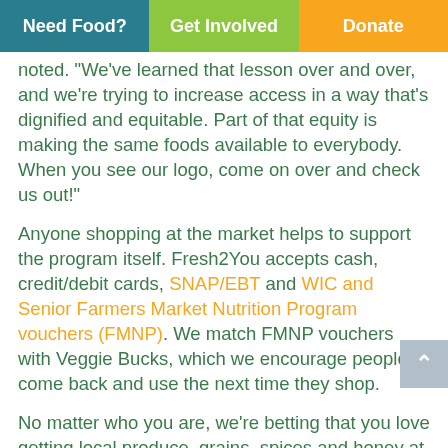Need Food?  |  Get Involved  |  Donate
noted. “We’ve learned that lesson over and over, and we’re trying to increase access in a way that’s dignified and equitable. Part of that equity is making the same foods available to everybody. When you see our logo, come on over and check us out!”
Anyone shopping at the market helps to support the program itself. Fresh2You accepts cash, credit/debit cards, SNAP/EBT and WIC and Senior Farmers Market Nutrition Program vouchers (FMNP). We match FMNP vouchers with Veggie Bucks, which we encourage people to come back and use the next time they shop.
No matter who you are, we’re betting that you love getting local produce, grains, spices and honey at a great price. Because of our relationships with farmers and remarkable buying power (we’re almost at the wholesale buying level of a grocery store!), we’re able to purchase food at extremely low wholesale prices. Because we’re a nonprofit and don’t mark the food up, we’re able to pass the savings on to our shoppers. Here are just a few examples of our prices: